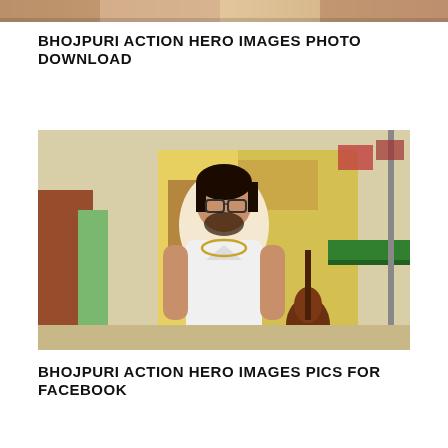[Figure (photo): Cropped top portion of a group photo showing people]
BHOJPURI ACTION HERO IMAGES PHOTO DOWNLOAD
[Figure (photo): Young Indian man wearing glasses, white sleeveless vest and gold chain, standing outdoors in front of colorful buildings, holding a guitar]
BHOJPURI ACTION HERO IMAGES PICS FOR FACEBOOK